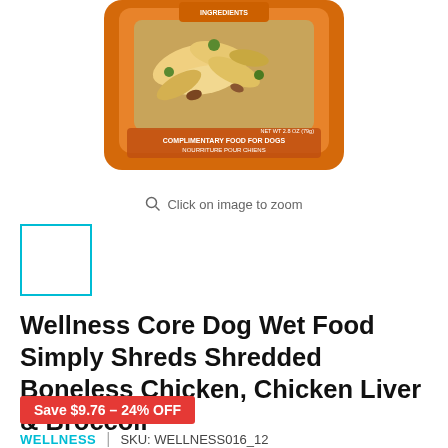[Figure (photo): Product photo of Wellness Core dog food pouch with shredded chicken ingredients visible, orange-colored packaging]
Click on image to zoom
[Figure (photo): Thumbnail image placeholder with teal/cyan border outline]
Wellness Core Dog Wet Food Simply Shreds Shredded Boneless Chicken, Chicken Liver & Broccoli
Save $9.76 - 24% OFF
WELLNESS | SKU: WELLNESS016_12